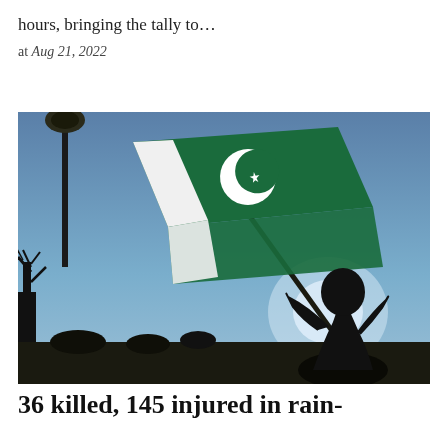hours, bringing the tally to…
at Aug 21, 2022
[Figure (photo): Silhouette of a person waving a Pakistani flag (green with white crescent and star) against a blue sky, with bare tree branches and a lamp post visible on the left.]
36 killed, 145 injured in rain-